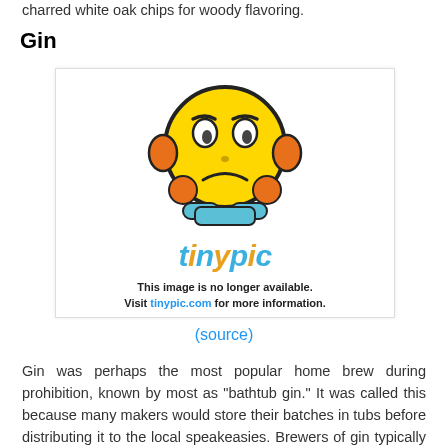charred white oak chips for woody flavoring.
Gin
[Figure (illustration): Tinypic placeholder image showing a cartoon frustrated emoji face with the text 'This image is no longer available. Visit tinypic.com for more information.']
(source)
Gin was perhaps the most popular home brew during prohibition, known by most as "bathtub gin." It was called this because many makers would store their batches in tubs before distributing it to the local speakeasies. Brewers of gin typically use a whiskey base and various botanicals for flavoring. Juniper berries and coriander seeds usually